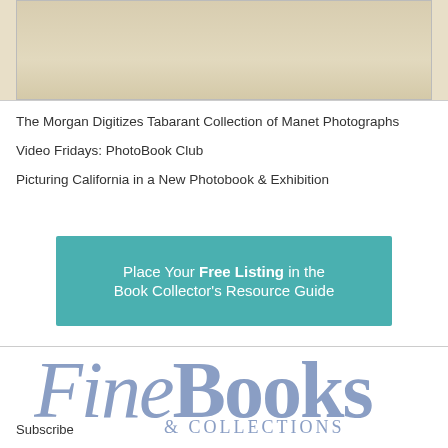[Figure (photo): Faded beige/cream colored photograph or document strip at top of page]
The Morgan Digitizes Tabarant Collection of Manet Photographs
Video Fridays: PhotoBook Club
Picturing California in a New Photobook & Exhibition
[Figure (infographic): Teal banner advertisement: Place Your Free Listing in the Book Collector's Resource Guide]
[Figure (logo): FineBooks & Collections logo in slate blue serif font]
Subscribe
Calendar